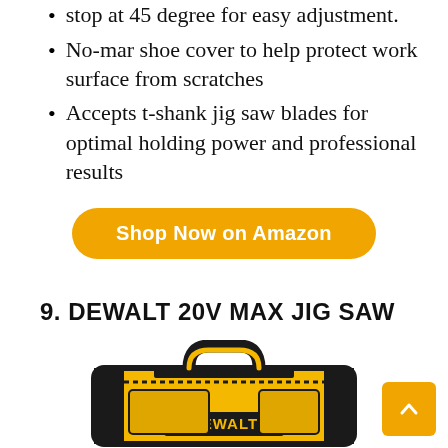stop at 45 degree for easy adjustment.
No-mar shoe cover to help protect work surface from scratches
Accepts t-shank jig saw blades for optimal holding power and professional results
Shop Now on Amazon
9. DEWALT 20V MAX JIG SAW
[Figure (photo): DEWALT branded black and yellow tool bag with handles]